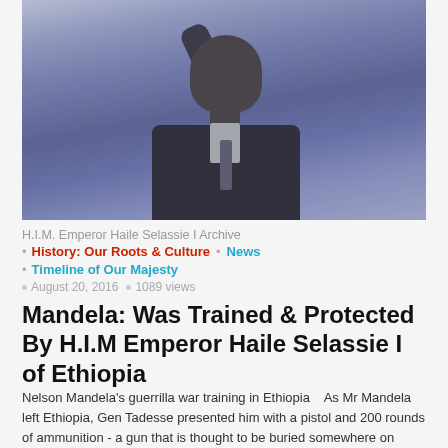[Figure (photo): Black and white photo of Nelson Mandela with arm raised, wearing a suit, crowd visible in background, bluish-purple toned overlay]
H.I.M. Emperor Haile Selassie I Archive
History: Our Roots & Culture • News
Timeline of Our Majesty
August 20, 2016 • 1089 views
Mandela: Was Trained & Protected By H.I.M Emperor Haile Selassie I of Ethiopia
Nelson Mandela's guerrilla war training in Ethiopia   As Mr Mandela left Ethiopia, Gen Tadesse presented him with a pistol and 200 rounds of ammunition - a gun that is thought to be buried somewhere on Lillesleaf Farm, where in 1963 other ANC leaders...